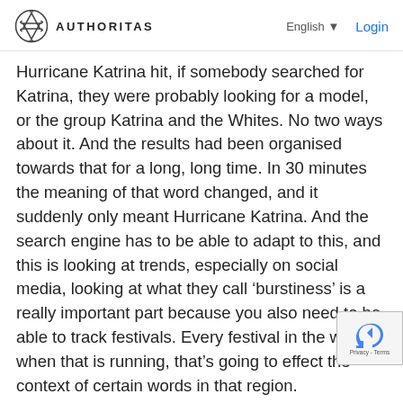AUTHORITAS  English  Login
Hurricane Katrina hit, if somebody searched for Katrina, they were probably looking for a model, or the group Katrina and the Whites. No two ways about it. And the results had been organised towards that for a long, long time. In 30 minutes the meaning of that word changed, and it suddenly only meant Hurricane Katrina. And the search engine has to be able to adapt to this, and this is looking at trends, especially on social media, looking at what they call ‘burstiness’ is a really important part because you also need to be able to track festivals. Every festival in the world, when that is running, that’s going to effect the context of certain words in that region.
DAVID BAIN: And of course with RankBrain, Google